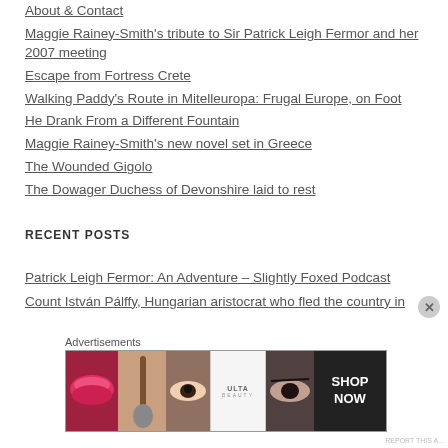About & Contact
Maggie Rainey-Smith's tribute to Sir Patrick Leigh Fermor and her 2007 meeting
Escape from Fortress Crete
Walking Paddy's Route in Mitelleuropa: Frugal Europe, on Foot
He Drank From a Different Fountain
Maggie Rainey-Smith's new novel set in Greece
The Wounded Gigolo
The Dowager Duchess of Devonshire laid to rest
RECENT POSTS
Patrick Leigh Fermor: An Adventure – Slightly Foxed Podcast
Count István Pálffy, Hungarian aristocrat who fled the country in
[Figure (photo): Ulta Beauty advertisement banner with makeup imagery and 'SHOP NOW' text]